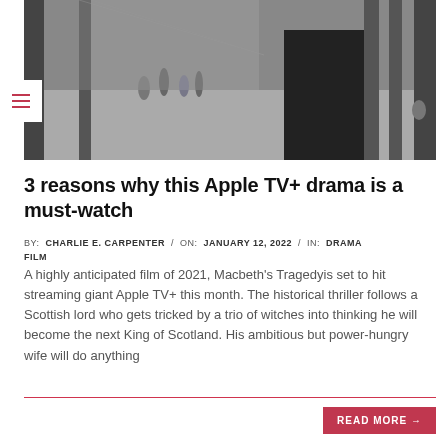[Figure (photo): Black and white cinematic still showing a grand columned hallway or courtyard with figures in period costume in the background; a dark silhouetted figure dominates the foreground right.]
3 reasons why this Apple TV+ drama is a must-watch
BY: CHARLIE E. CARPENTER / ON: JANUARY 12, 2022 / IN: DRAMA FILM
A highly anticipated film of 2021, Macbeth's Tragedyis set to hit streaming giant Apple TV+ this month. The historical thriller follows a Scottish lord who gets tricked by a trio of witches into thinking he will become the next King of Scotland. His ambitious but power-hungry wife will do anything
READ MORE →